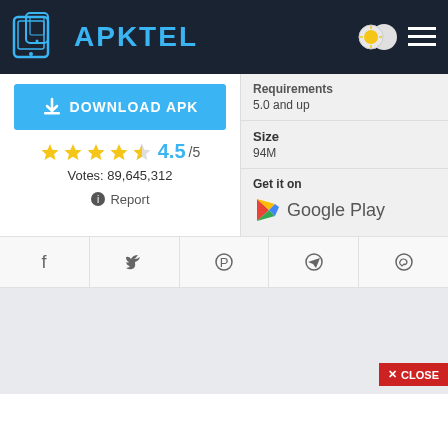[Figure (screenshot): APKTEL website header with logo, site title, sun/toggle icon and hamburger menu on dark navy background]
Requirements
5.0 and up
[Figure (other): Download APK button in blue]
4.5/5
Votes: 89,645,312
Report
Size
94M
Get it on
Google Play
[Figure (other): Social sharing buttons: Facebook, Twitter, Pinterest, Telegram, WhatsApp]
[Figure (other): Advertisement area with CLOSE button]